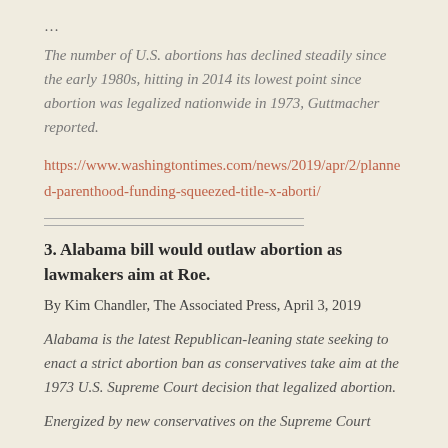…
The number of U.S. abortions has declined steadily since the early 1980s, hitting in 2014 its lowest point since abortion was legalized nationwide in 1973, Guttmacher reported.
https://www.washingtontimes.com/news/2019/apr/2/planned-parenthood-funding-squeezed-title-x-aborti/
——————————————————————
——————————————————————
3. Alabama bill would outlaw abortion as lawmakers aim at Roe.
By Kim Chandler, The Associated Press, April 3, 2019
Alabama is the latest Republican-leaning state seeking to enact a strict abortion ban as conservatives take aim at the 1973 U.S. Supreme Court decision that legalized abortion.
Energized by new conservatives on the Supreme Court…